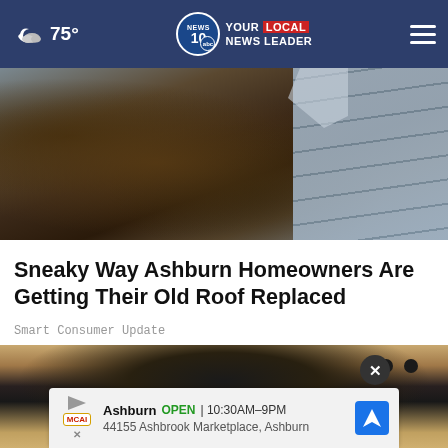75° | NEWS 10 YOUR LOCAL NEWS LEADER
[Figure (photo): Aerial view of damaged roof with debris, shingles torn off, rubble visible]
Sneaky Way Ashburn Homeowners Are Getting Their Old Roof Replaced
Smart Consumer Update
[Figure (photo): Person standing near a door or building; advertisement overlay showing Ashburn OPEN 10:30AM-9PM, 44155 Ashbrook Marketplace, Ashburn with close button]
Ashburn  OPEN  |  10:30AM–9PM
44155 Ashbrook Marketplace, Ashburn